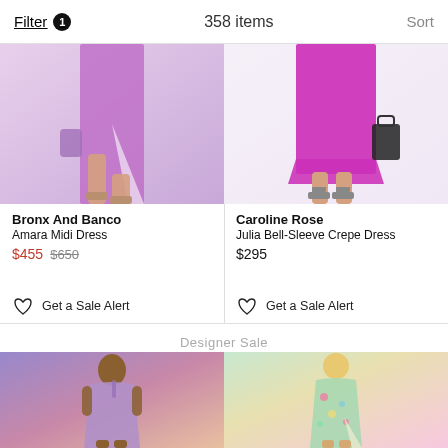Filter 1  358 items  Sort
[Figure (photo): Purple midi dress with slit, lower half shown, pink/purple background]
[Figure (photo): Magenta satin knee-length dress, model wearing black sandals, white background]
Bronx And Banco
Amara Midi Dress
$455 $650
Get a Sale Alert
Caroline Rose
Julia Bell-Sleeve Crepe Dress
$295
Get a Sale Alert
Designer Sale
[Figure (photo): Model wearing purple/pink one-shoulder ruched mini dress, full body shot]
[Figure (photo): Model wearing colorful floral maxi dress with slit, flowy style]